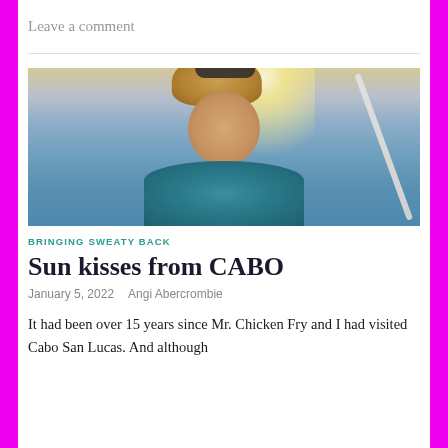Leave a comment
[Figure (photo): A smiling woman with sunglasses and braided blonde hair wearing a blue patterned top, photographed on a boat with ocean and sunlit water in the background, with a mast/pole visible.]
BRINGING SWEATY BACK
Sun kisses from CABO
January 5, 2022   Angi Abercrombie
It had been over 15 years since Mr. Chicken Fry and I had visited Cabo San Lucas. And although